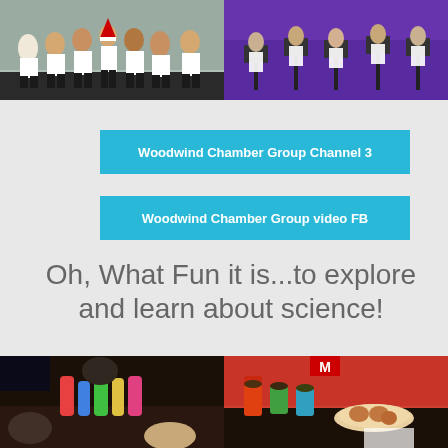[Figure (photo): Group of students in white shirts and dark pants standing outdoors against a building wall]
[Figure (photo): Students or performers on a stage with purple lighting, standing at music stands]
Woodwind Chamber Group Channel 3
Woodwind Chamber Group video FB
Oh, What Fun it is...to explore and learn about science!
[Figure (photo): Students at a classroom table with colorful bottles and science materials]
[Figure (photo): Close-up of science experiment materials on a desk including jars and a plate]